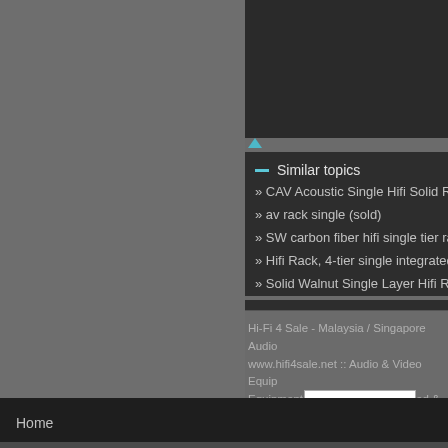Similar topics
» CAV Acoustic Single Hifi Solid Real W...
» av rack single (sold)
» SW carbon fiber hifi single tier rack (...
» Hifi Rack, 4-tier single integrated fra...
» Solid Walnut Single Layer Hifi Rack (...
Hi-Fi 4 Sale - Malaysia / Singapore Audio...
www.hifi4sale.net :: Audio & Video Equip...
Equipment: FOR SALE (Pre-owned & Us...
Jump to: Select a forum
PERMISSIONS IN THIS FORUM:
You cannot reply to topics in this forum
Home